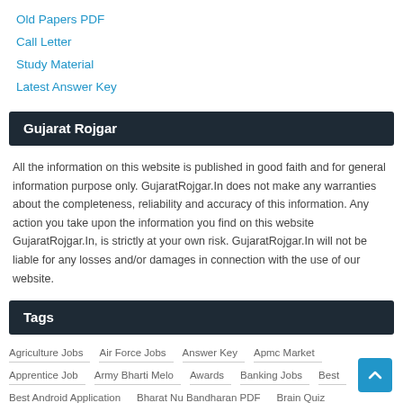Old Papers PDF
Call Letter
Study Material
Latest Answer Key
Gujarat Rojgar
All the information on this website is published in good faith and for general information purpose only. GujaratRojgar.In does not make any warranties about the completeness, reliability and accuracy of this information. Any action you take upon the information you find on this website GujaratRojgar.In, is strictly at your own risk. GujaratRojgar.In will not be liable for any losses and/or damages in connection with the use of our website.
Tags
Agriculture Jobs
Air Force Jobs
Answer Key
Apmc Market
Apprentice Job
Army Bharti Melo
Awards
Banking Jobs
Best
Best Android Application
Bharat Nu Bandharan PDF
Brain Quiz
Call Letter
Central Government Job
Computer Book in gujarati pdf